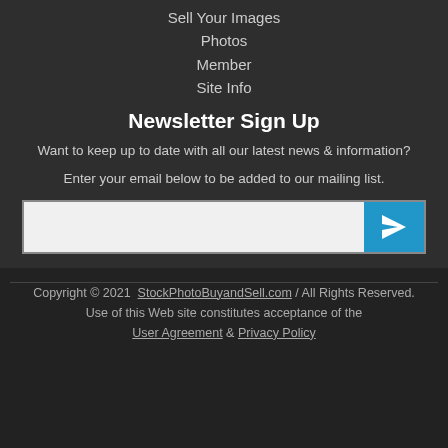Sell Your Images
Photos
Member
Site Info
Newsletter Sign Up
Want to keep up to date with all our latest news & information?
Enter your email below to be added to our mailing list.
Copyright © 2021  StockPhotoBuyandSell.com / All Rights Reserved.
Use of this Web site constitutes acceptance of the User Agreement & Privacy Policy